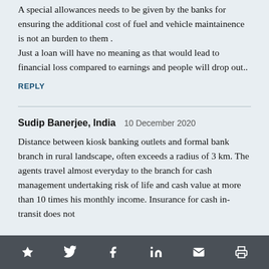A special allowances needs to be given by the banks for ensuring the additional cost of fuel and vehicle maintainence is not an burden to them . Just a loan will have no meaning as that would lead to financial loss compared to earnings and people will drop out..
REPLY
Sudip Banerjee, India   10 December 2020
Distance between kiosk banking outlets and formal bank branch in rural landscape, often exceeds a radius of 3 km. The agents travel almost everyday to the branch for cash management undertaking risk of life and cash value at more than 10 times his monthly income. Insurance for cash in-transit does not